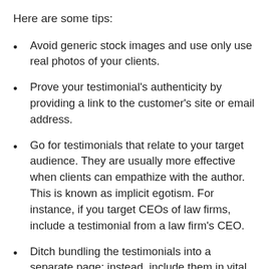Here are some tips:
Avoid generic stock images and use only use real photos of your clients.
Prove your testimonial's authenticity by providing a link to the customer's site or email address.
Go for testimonials that relate to your target audience. They are usually more effective when clients can empathize with the author. This is known as implicit egotism. For instance, if you target CEOs of law firms, include a testimonial from a law firm's CEO.
Ditch bundling the testimonials into a separate page; instead, include them in vital areas of your sales funnel.